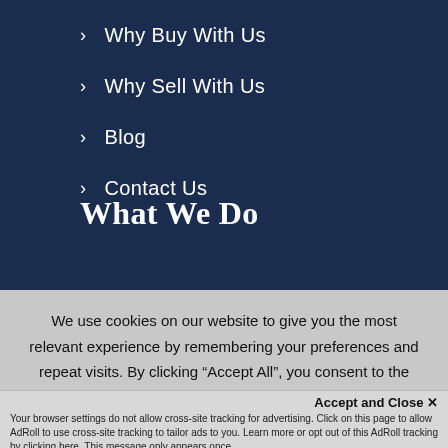> Why Buy With Us
> Why Sell With Us
> Blog
> Contact Us
What We Do
As Top Producers, we are a group of high energy,
We use cookies on our website to give you the most relevant experience by remembering your preferences and repeat visits. By clicking “Accept All”, you consent to the use of ALL the cookies. However, you may visit "Cookie Settings" to provide a controlled
Accept and Close ×
Your browser settings do not allow cross-site tracking for advertising. Click on this page to allow AdRoll to use cross-site tracking to tailor ads to you. Learn more or opt out of this AdRoll tracking by clicking here. This message only appears once.